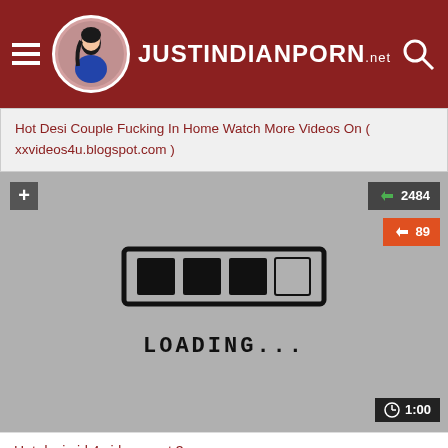JUSTINDIANPORN.net
Hot Desi Couple Fucking In Home Watch More Videos On ( xxvideos4u.blogspot.com )
[Figure (screenshot): Video player placeholder showing a hand-drawn loading bar graphic with 'LOADING...' text, like/dislike counts (2484 likes, 89 dislikes), a + button, and a 1:00 duration badge.]
Hot desi girl 4 videos part 3